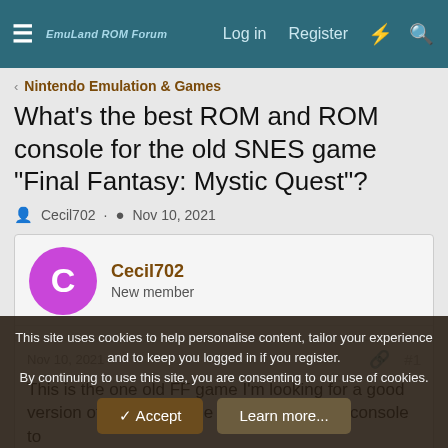≡  Emu-Land ROM Forum  Log in  Register  ⚡  🔍
< Nintendo Emulation & Games
What's the best ROM and ROM console for the old SNES game "Final Fantasy: Mystic Quest"?
Cecil702 · Nov 10, 2021
Cecil702
New member
Nov 10, 2021  #1
This is the one old FF game I'm looking for a good version of, as well as the best ROM SNES console to
This site uses cookies to help personalise content, tailor your experience and to keep you logged in if you register.
By continuing to use this site, you are consenting to our use of cookies.
✓ Accept   Learn more...